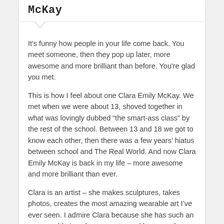McKay
It's funny how people in your life come back. You meet someone, then they pop up later, more awesome and more brilliant than before. You’re glad you met.
This is how I feel about one Clara Emily McKay. We met when we were about 13, shoved together in what was lovingly dubbed “the smart-ass class” by the rest of the school. Between 13 and 18 we got to know each other, then there was a few years’ hiatus between school and The Real World. And now Clara Emily McKay is back in my life – more awesome and more brilliant than ever.
Clara is an artist – she makes sculptures, takes photos, creates the most amazing wearable art I’ve ever seen. I admire Clara because she has such an unstoppable impulse to create, and because the